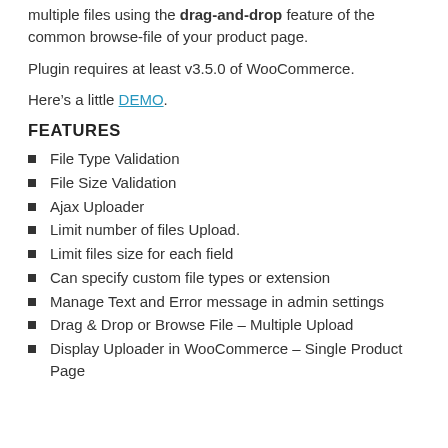multiple files using the drag-and-drop feature of the common browse-file of your product page.
Plugin requires at least v3.5.0 of WooCommerce.
Here's a little DEMO.
FEATURES
File Type Validation
File Size Validation
Ajax Uploader
Limit number of files Upload.
Limit files size for each field
Can specify custom file types or extension
Manage Text and Error message in admin settings
Drag & Drop or Browse File – Multiple Upload
Display Uploader in WooCommerce – Single Product Page